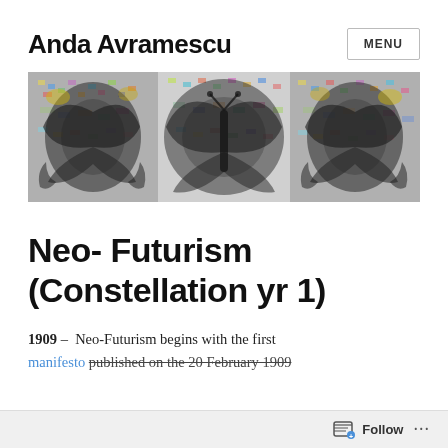Anda Avramescu
[Figure (illustration): Decorative banner image with mirrored butterfly and floral motifs in monochrome with colorful pixel-art background]
Neo- Futurism (Constellation yr 1)
1909 –  Neo-Futurism begins with the first manifesto published on the 20 February 1909
Follow ...